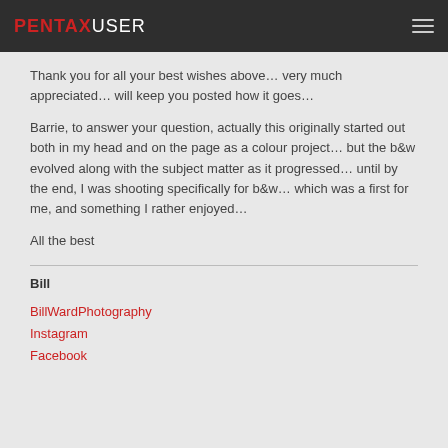PENTAXUSER
Thank you for all your best wishes above… very much appreciated… will keep you posted how it goes…
Barrie, to answer your question, actually this originally started out both in my head and on the page as a colour project… but the b&w evolved along with the subject matter as it progressed… until by the end, I was shooting specifically for b&w… which was a first for me, and something I rather enjoyed…
All the best
Bill
BillWardPhotography
Instagram
Facebook